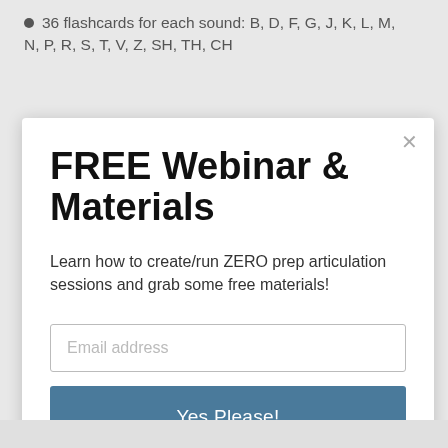36 flashcards for each sound: B, D, F, G, J, K, L, M, N, P, R, S, T, V, Z, SH, TH, CH
FREE Webinar & Materials
Learn how to create/run ZERO prep articulation sessions and grab some free materials!
Email address
Yes Please!